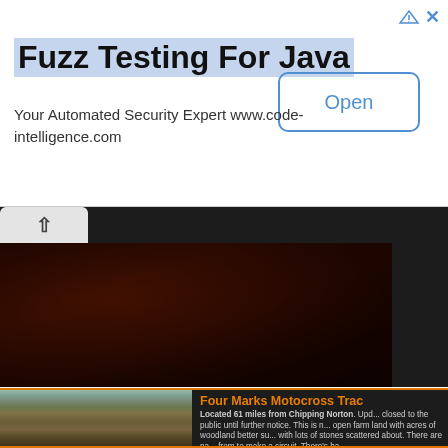[Figure (screenshot): Advertisement banner for 'Fuzz Testing For Java' by code-intelligence.com with an 'Open' button]
Fuzz Testing For Java
Your Automated Security Expert www.code-intelligence.com
[Figure (photo): Aerial or overhead view of brown soil/dirt motocross track]
[Figure (photo): Muddy dirt track with trees and foggy background — Four Marks Motocross Track]
Four Marks Motocross Trac
Located 61 miles from Chipping Norton. Upd... closed to the public until further notice. This is n... open farm land with acres of woodland better su... with lots of stones scattered about. There are na... from to make a circuit. There's ha...
Click for more info »